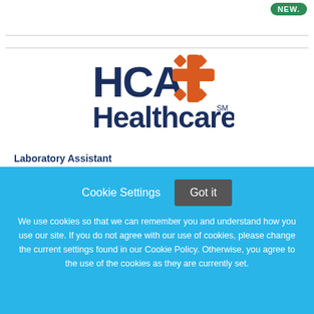[Figure (logo): HCA Healthcare logo with orange cross/star symbol and dark navy text]
Laboratory Assistant
HCA Healthcare
Cookie Settings  Got it
We use cookies so that we can remember you and understand how you use our site. If you do not agree with our use of cookies, please change the current settings found in our Cookie Policy. Otherwise, you agree to the use of the cookies as they are currently set.